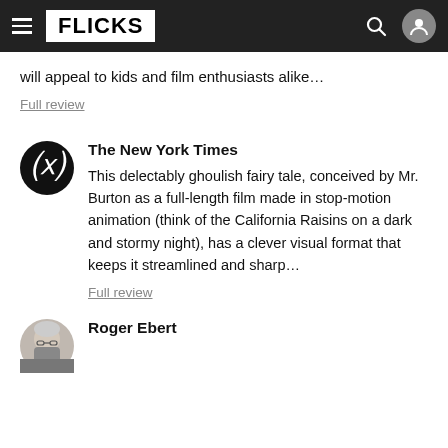FLICKS
will appeal to kids and film enthusiasts alike…
Full review
The New York Times
This delectably ghoulish fairy tale, conceived by Mr. Burton as a full-length film made in stop-motion animation (think of the California Raisins on a dark and stormy night), has a clever visual format that keeps it streamlined and sharp…
Full review
Roger Ebert